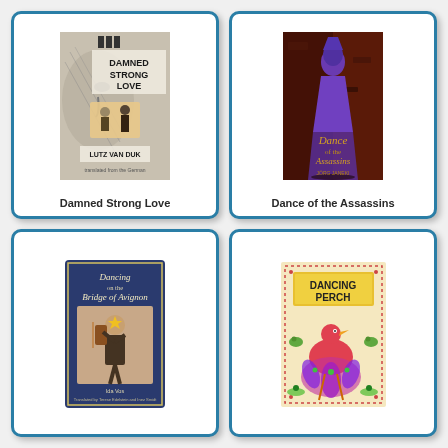[Figure (illustration): Book cover of 'Damned Strong Love' by Lutz Van Duk, showing a black and white illustrated face with two figures in the middle]
Damned Strong Love
[Figure (illustration): Book cover of 'Dance of the Assassins' showing a dark red background with a purple cloaked figure]
Dance of the Assassins
[Figure (illustration): Book cover of 'Dancing on the Bridge of Avignon' showing a blue cover with a person playing violin wearing a yellow star]
[Figure (illustration): Book cover of 'Dancing Perch' showing a colorful illustrated cover with birds and a peacock]